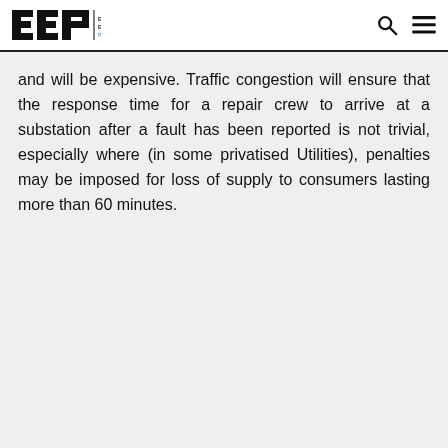EEP | ELECTRICAL ENGINEERING PORTAL
and will be expensive. Traffic congestion will ensure that the response time for a repair crew to arrive at a substation after a fault has been reported is not trivial, especially where (in some privatised Utilities), penalties may be imposed for loss of supply to consumers lasting more than 60 minutes.